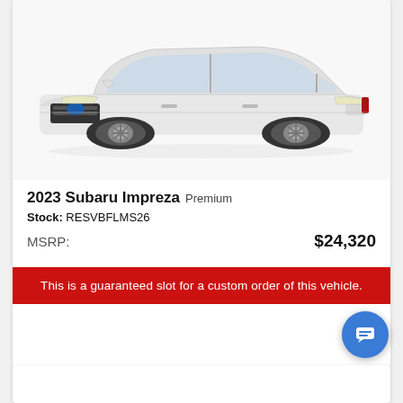[Figure (photo): White 2023 Subaru Impreza sedan, 3/4 front view on white background]
2023 Subaru Impreza Premium
Stock: RESVBFLMS26
MSRP: $24,320
This is a guaranteed slot for a custom order of this vehicle.